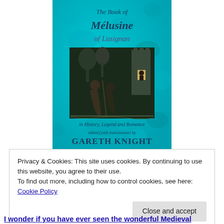[Figure (illustration): Book cover of 'The Book of Mélusine of Lusignan in History, Legend and Romance' edited (with translations) by Gareth Knight. Teal/turquoise mottled background with calligraphic title text and a black woodcut illustration showing medieval figures near a castle tower.]
Privacy & Cookies: This site uses cookies. By continuing to use this website, you agree to their use.
To find out more, including how to control cookies, see here: Cookie Policy
Close and accept
I wonder if you have ever seen the wonderful Medieval